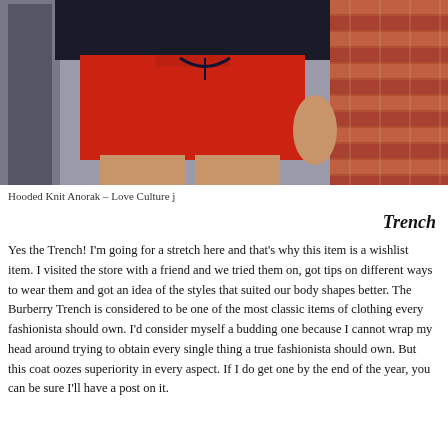[Figure (photo): Fashion photo of a woman wearing a navy/dark hooded knit anorak top and a red mini skirt with a navy drawstring, standing in front of a brick wall and doorway.]
Hooded Knit Anorak – Love Culture j
Trench
Yes the Trench! I'm going for a stretch here and that's why this item is a wishlist item. I visited the store with a friend and we tried them on, got tips on different ways to wear them and got an idea of the styles that suited our body shapes better. The Burberry Trench is considered to be one of the most classic items of clothing every fashionista should own. I'd consider myself a budding one because I cannot wrap my head around trying to obtain every single thing a true fashionista should own. But this coat oozes superiority in every aspect. If I do get one by the end of the year, you can be sure I'll have a post on it.